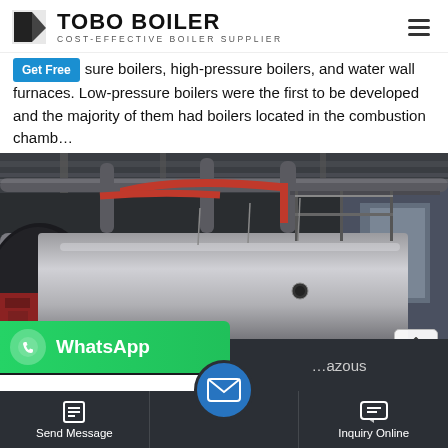TOBO BOILER — COST-EFFECTIVE BOILER SUPPLIER
sure boilers, high-pressure boilers, and water wall furnaces. Low-pressure boilers were the first to be developed and the majority of them had boilers located in the combustion chamb…
[Figure (photo): Industrial boiler room with a large horizontal cylindrical stainless steel boiler vessel, pipes, scaffolding and red fittings inside a warehouse facility.]
WhatsApp
Send Message
Inquiry Online